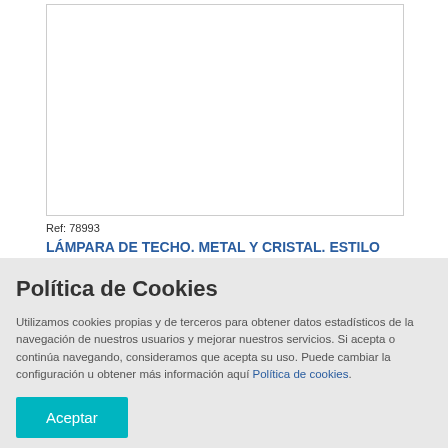[Figure (photo): White empty image box with light gray border representing a product photo area]
Ref: 78993
LÁMPARA DE TECHO. METAL Y CRISTAL. ESTILO CARLOS IV. ESPAÑA. SIGLO XX.
Política de Cookies
Utilizamos cookies propias y de terceros para obtener datos estadísticos de la navegación de nuestros usuarios y mejorar nuestros servicios. Si acepta o continúa navegando, consideramos que acepta su uso. Puede cambiar la configuración u obtener más información aquí Política de cookies.